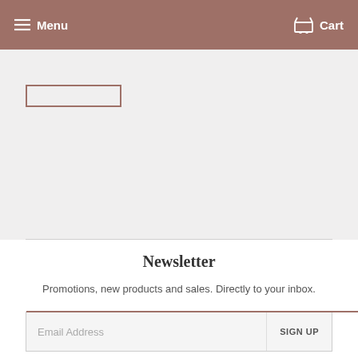Menu  Cart
[Figure (screenshot): Gray content area with a partially visible outline button at top-left and a horizontal divider line across the middle]
Newsletter
Promotions, new products and sales. Directly to your inbox.
Email Address  SIGN UP